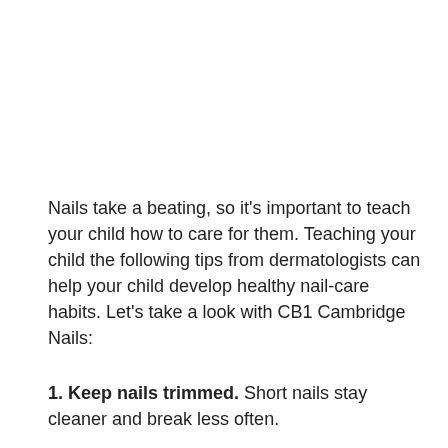Nails take a beating, so it's important to teach your child how to care for them. Teaching your child the following tips from dermatologists can help your child develop healthy nail-care habits. Let's take a look with CB1 Cambridge Nails:
1. Keep nails trimmed. Short nails stay cleaner and break less often.
Dermatologists recommend that an adult trim a child's nails until the child is about 9 or 10 years old. At about that age,